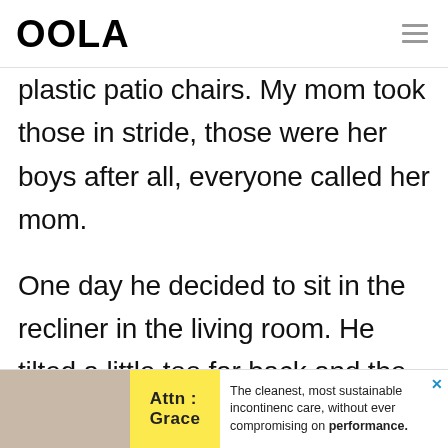OOLA
plastic patio chairs. My mom took those in stride, those were her boys after all, everyone called her mom.
One day he decided to sit in the recliner in the living room. He tilted a little too far back and the next thing you know, he was flipping
[Figure (infographic): Advertisement banner: Attn: Grace brand with yellow background, image of person, and text 'The cleanest, most sustainable incontinence care, without ever compromising on performance.']